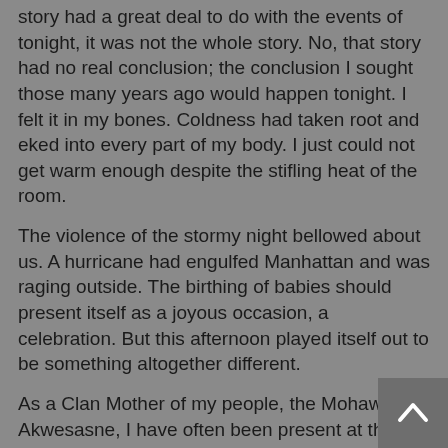story had a great deal to do with the events of tonight, it was not the whole story. No, that story had no real conclusion; the conclusion I sought those many years ago would happen tonight. I felt it in my bones. Coldness had taken root and eked into every part of my body. I just could not get warm enough despite the stifling heat of the room.
The violence of the stormy night bellowed about us. A hurricane had engulfed Manhattan and was raging outside. The birthing of babies should present itself as a joyous occasion, a celebration. But this afternoon played itself out to be something altogether different.
As a Clan Mother of my people, the Mohawks of Akwesasne, I have often been present at the birthing of babies. It is the way of things and has been this way for far longer than the people can remember. Birthings are the most potent power women possess – the creation of life.
For the Haudenosaunee, women govern the culture and guide them through the forests of life. It is our responsibility and our birthright to ensure Haudenosaunee longevity. The chiefs and warriors may be out front, but that is only so the women can